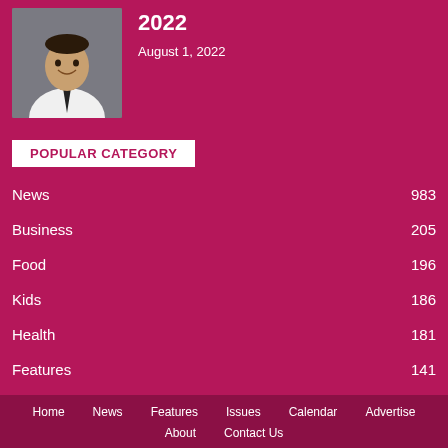[Figure (photo): Headshot of a smiling man in a white shirt and dark tie against a grey background]
2022
August 1, 2022
POPULAR CATEGORY
News 983
Business 205
Food 196
Kids 186
Health 181
Features 141
Home  News  Features  Issues  Calendar  Advertise  About  Contact Us